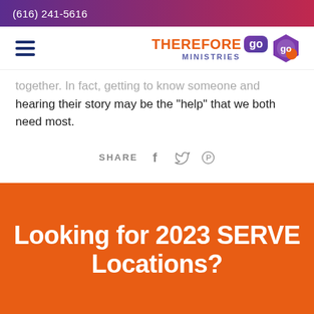(616) 241-5616
[Figure (logo): Therefore Go Ministries logo with hamburger menu icon]
together. In fact, getting to know someone and hearing their story may be the “help” that we both need most.
SHARE
Looking for 2023 SERVE Locations?